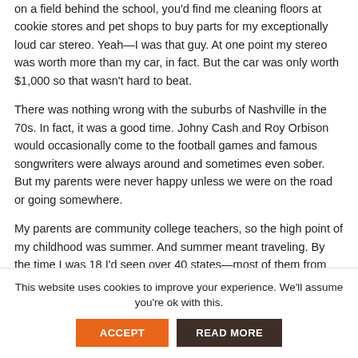on a field behind the school, you'd find me cleaning floors at cookie stores and pet shops to buy parts for my exceptionally loud car stereo. Yeah—I was that guy. At one point my stereo was worth more than my car, in fact. But the car was only worth $1,000 so that wasn't hard to beat.
There was nothing wrong with the suburbs of Nashville in the 70s. In fact, it was a good time. Johny Cash and Roy Orbison would occasionally come to the football games and famous songwriters were always around and sometimes even sober. But my parents were never happy unless we were on the road or going somewhere.
My parents are community college teachers, so the high point of my childhood was summer. And summer meant traveling. By the time I was 18 I'd seen over 40 states—most of them from the backseat of a lime green Dodge Colt station wagon. We were campers. The only thing more important than sports, reading and loud music was traveling. I only really thought about money when the tent was broken and we couldn't find a hotel we could afford.
I really didn't excel at anything except sports, dreaming and
This website uses cookies to improve your experience. We'll assume you're ok with this.
ACCEPT   READ MORE